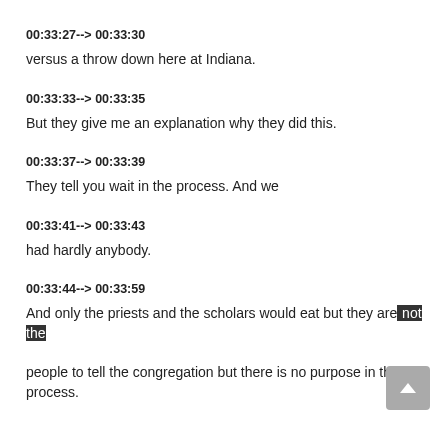00:33:27--> 00:33:30
versus a throw down here at Indiana.
00:33:33--> 00:33:35
But they give me an explanation why they did this.
00:33:37--> 00:33:39
They tell you wait in the process. And we
00:33:41--> 00:33:43
had hardly anybody.
00:33:44--> 00:33:59
And only the priests and the scholars would eat but they are not the people to tell the congregation but there is no purpose in the process.